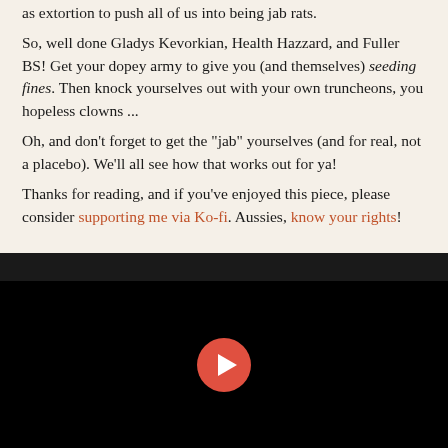as extortion to push all of us into being jab rats.
So, well done Gladys Kevorkian, Health Hazzard, and Fuller BS! Get your dopey army to give you (and themselves) seeding fines. Then knock yourselves out with your own truncheons, you hopeless clowns ...
Oh, and don't forget to get the "jab" yourselves (and for real, not a placebo). We'll all see how that works out for ya!
Thanks for reading, and if you've enjoyed this piece, please consider supporting me via Ko-fi. Aussies, know your rights!
[Figure (other): Embedded video player with black background, dark header bar, and a red circular play button in the center]